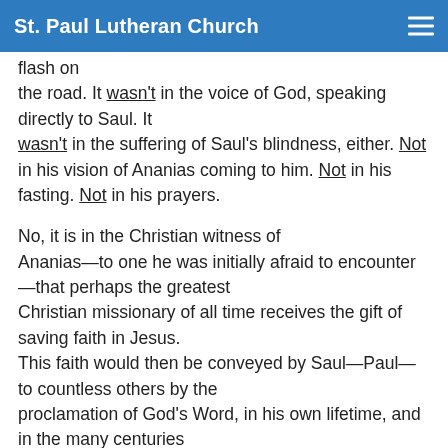St. Paul Lutheran Church
flash on the road. It wasn't in the voice of God, speaking directly to Saul. It wasn't in the suffering of Saul's blindness, either. Not in his vision of Ananias coming to him. Not in his fasting. Not in his prayers.
No, it is in the Christian witness of Ananias—to one he was initially afraid to encounter—that perhaps the greatest Christian missionary of all time receives the gift of saving faith in Jesus. This faith would then be conveyed by Saul—Paul—to countless others by the proclamation of God's Word, in his own lifetime, and in the many centuries